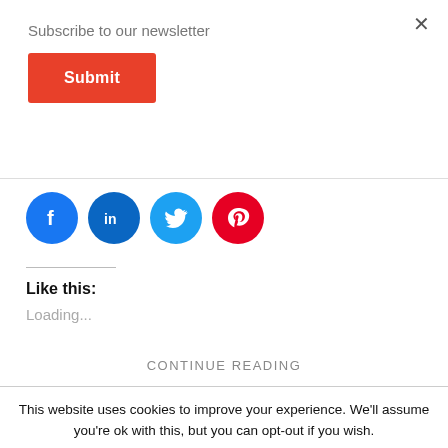Subscribe to our newsletter
Submit
[Figure (illustration): Social media share icons: Facebook (blue circle), LinkedIn (blue circle), Twitter (cyan circle), Pinterest (red circle)]
Like this:
Loading...
CONTINUE READING
This website uses cookies to improve your experience. We'll assume you're ok with this, but you can opt-out if you wish.
Accept
Reject
Read More